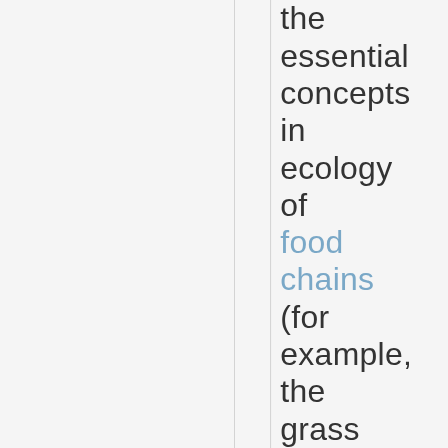the essential concepts in ecology of food chains (for example, the grass is consumed by the